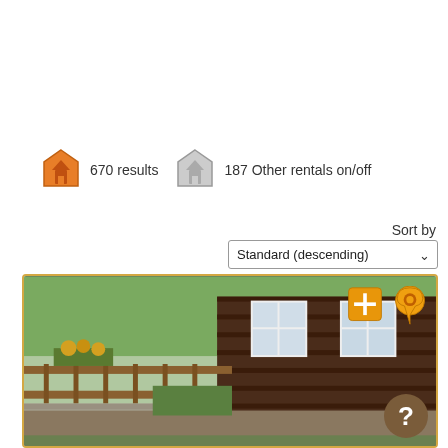670 results
187 Other rentals on/off
Sort by
Standard (descending)
[Figure (photo): Photo of a holiday home named Rogbergastugan showing a wooden cabin exterior with a multi-level garden terrace, stone wall, wooden fence, and white-framed windows.]
Holiday Home Rogbergastugan
4 persons. 2 bedrooms
490  EUR per week